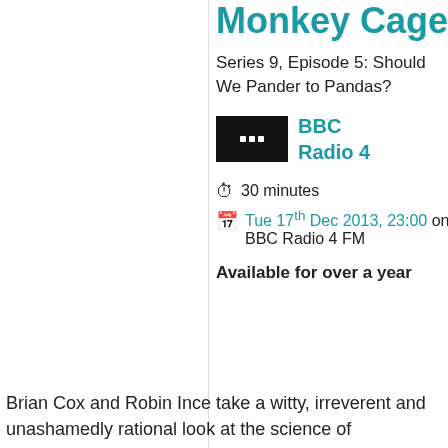Monkey Cage
Series 9, Episode 5: Should We Pander to Pandas?
[Figure (screenshot): Black thumbnail image with three white dots, representing BBC media player thumbnail]
BBC Radio 4
30 minutes
Tue 17th Dec 2013, 23:00 on BBC Radio 4 FM
Available for over a year
Brian Cox and Robin Ince take a witty, irreverent and unashamedly rational look at the science of biodiversity, conservation and ugly animals.